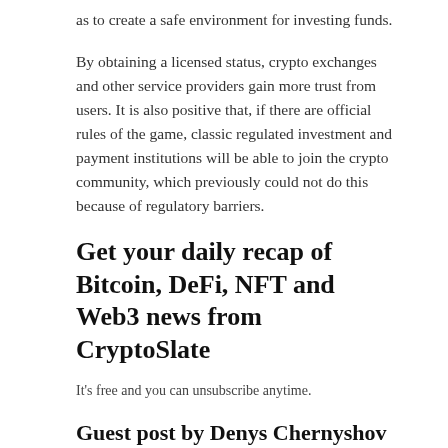as to create a safe environment for investing funds.
By obtaining a licensed status, crypto exchanges and other service providers gain more trust from users. It is also positive that, if there are official rules of the game, classic regulated investment and payment institutions will be able to join the crypto community, which previously could not do this because of regulatory barriers.
Get your daily recap of Bitcoin, DeFi, NFT and Web3 news from CryptoSlate
It's free and you can unsubscribe anytime.
Guest post by Denys Chernyshov from Attorney
Denys Chernyshov is an attorney, founder and CEO of